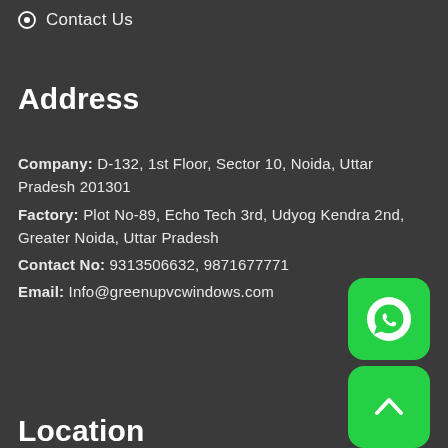Contact Us
Address
Company: D-132, 1st Floor, Sector 10, Noida, Uttar Pradesh 201301
Factory: Plot No-89, Echo Tech 3rd, Udyog Kendra 2nd, Greater Noida, Uttar Pradesh
Contact No: 9313506632, 9871677771
Email: Info@greenupvcwindows.com
[Figure (logo): WhatsApp icon button - green rounded square with white phone handset icon]
Location
[Figure (other): Scroll to top button - green rounded square with white upward chevron arrow]